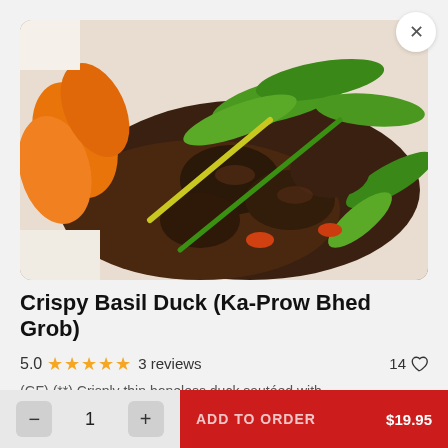[Figure (photo): Close-up photo of Crispy Basil Duck dish with snap peas, carrots, and dark savory sauce on a white plate]
Crispy Basil Duck (Ka-Prow Bhed Grob)
5.0 ★★★★★ 3 reviews   14 ♡
(GF) (**) Crisply thin boneless duck sautéed with
− 1 +   ADD TO ORDER   $19.95